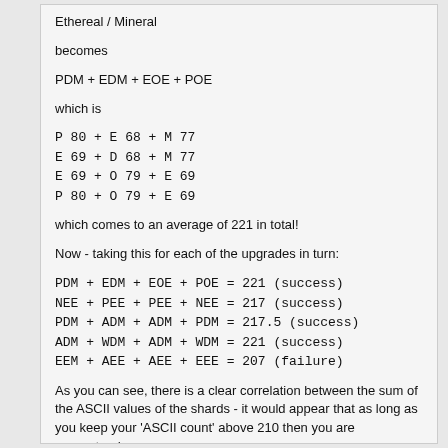Ethereal / Mineral
becomes
PDM + EDM + EOE + POE
which is
P 80 + E 68 + M 77
E 69 + D 68 + M 77
E 69 + O 79 + E 69
P 80 + O 79 + E 69
which comes to an average of 221 in total!
Now - taking this for each of the upgrades in turn:
PDM + EDM + EOE + POE = 221 (success)
NEE + PEE + PEE + NEE = 217 (success)
PDM + ADM + ADM + PDM = 217.5 (success)
ADM + WDM + ADM + WDM = 221 (success)
EEM + AEE + AEE + EEE = 207 (failure)
As you can see, there is a clear correlation between the sum of the ASCII values of the shards - it would appear that as long as you keep your 'ASCII count' above 210 then you are guaranteed success.
I recommend that before anyone proceeds with any more supreme tyrant upgrades, they check that it's going to work by following this procedure I can't beleive the devs didn't think we would spot this! Ha - score one for the players!!! :)
Regards,
Garth
p.s. the endless stream of theories based on FOUR results is getting amusing... how about we just wait for a few more upgrades and then work it out